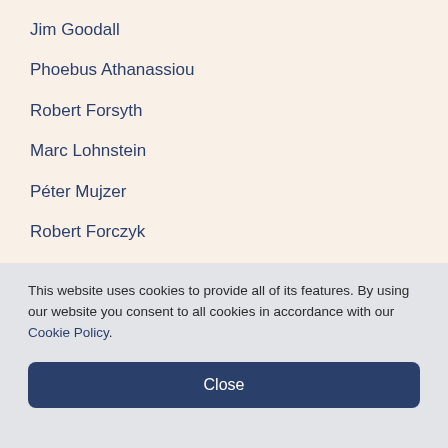Jim Goodall
Phoebus Athanassiou
Robert Forsyth
Marc Lohnstein
Péter Mujzer
Robert Forczyk
Ian Knight
Marcus Cowper
Ed Nash and Alaric Searle
Holly Wilson
This website uses cookies to provide all of its features. By using our website you consent to all cookies in accordance with our Cookie Policy.
Close